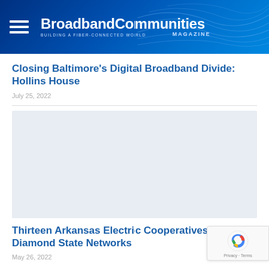BroadbandCommunities MAGAZINE — BUILDING A FIBER-CONNECTED WORLD
Closing Baltimore's Digital Broadband Divide: Hollins House
July 25, 2022
[Figure (photo): Article image placeholder (light gray rectangle)]
Thirteen Arkansas Electric Cooperatives Create Diamond State Networks
May 26, 2022